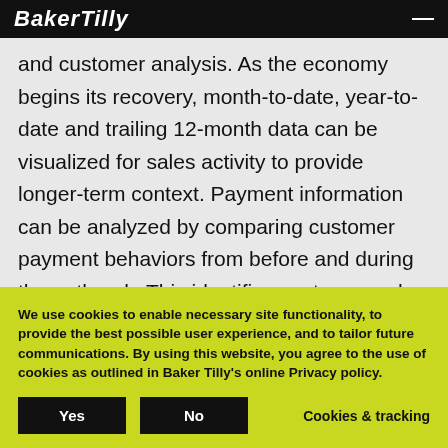Baker Tilly
and customer analysis. As the economy begins its recovery, month-to-date, year-to-date and trailing 12-month data can be visualized for sales activity to provide longer-term context. Payment information can be analyzed by comparing customer payment behaviors from before and during the outbreak. This identifies customers who are beginning to deviate from historical norms, and proactively identifies potential future
We use cookies to enable necessary site functionality, to provide the best possible user experience, and to tailor future communications. By using this website, you agree to the use of cookies as outlined in Baker Tilly's online Privacy policy.
Yes   No   Cookies & tracking